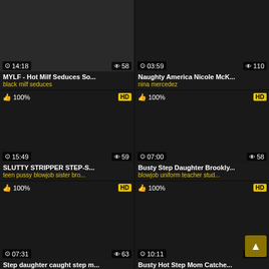[Figure (screenshot): Video thumbnail grid - adult video site with 6 video cards in a 2x3 grid layout]
14:18 | 58 views | MYLF - Hot Milf Seduces So... | tags: black milf seduces
03:59 | 110 views | Naughty America Nicole McK... | tags: nina mercedez
15:49 | 59 views | SLUTTY STRIPPER STEP-S... | tags: teen pussy blowjob sister bro...
07:00 | 58 views | Busty Step Daughter Brookly... | tags: blowjob uniform teacher stud...
07:31 | 63 views | Step daughter caught step m...
10:11 | 105 views | Busty Hot Step Mom Catche...